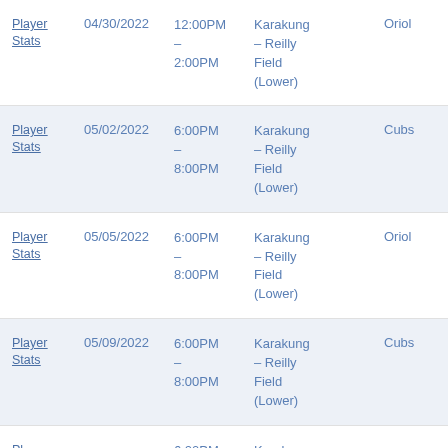| Link | Date | Time | Location | Team |
| --- | --- | --- | --- | --- |
| Player Stats | 04/30/2022 | 12:00PM - 2:00PM | Karakung - Reilly Field (Lower) | Oriol |
| Player Stats | 05/02/2022 | 6:00PM - 8:00PM | Karakung - Reilly Field (Lower) | Cubs |
| Player Stats | 05/05/2022 | 6:00PM - 8:00PM | Karakung - Reilly Field (Lower) | Oriol |
| Player Stats | 05/09/2022 | 6:00PM - 8:00PM | Karakung - Reilly Field (Lower) | Cubs |
| Player Stats |  | 6:00PM | Karakung |  |